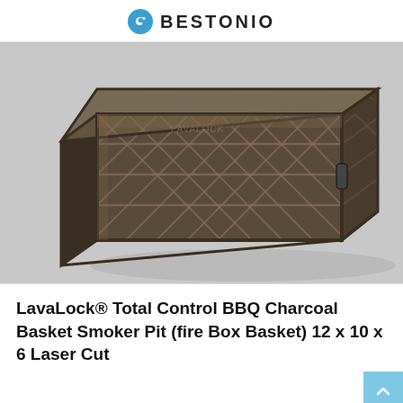BESTONIO
[Figure (photo): A metal LavaLock BBQ charcoal basket smoker pit with laser-cut diamond/lattice pattern sides and bottom, photographed at an angle showing the 3D rectangular basket structure in dark metallic finish.]
LavaLock® Total Control BBQ Charcoal Basket Smoker Pit (fire Box Basket) 12 x 10 x 6 Laser Cut